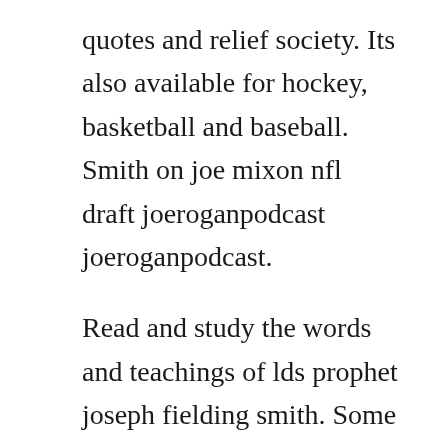quotes and relief society. Its also available for hockey, basketball and baseball. Smith on joe mixon nfl draft joeroganpodcast joeroganpodcast.
Read and study the words and teachings of lds prophet joseph fielding smith. Some have said that smith is getting late firstround consideration, but he looks more likely to be a secondround pick in the 2014 nfl draft. Essentials in church history a history of the church from the birth of joseph smith to the present time 1922, with introductory chapters